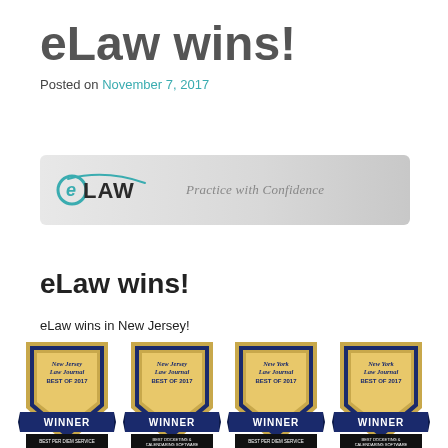eLaw wins!
Posted on November 7, 2017
[Figure (logo): eLaw logo with tagline 'Practice with Confidence' on a grey gradient banner background]
eLaw wins!
eLaw wins in New Jersey!
[Figure (illustration): Four award badges: New Jersey Law Journal Best of 2017 Winner - Best Per Diem Service; New Jersey Law Journal Best of 2017 Winner - Best Docketing & Calendaring Software; New York Law Journal Best of 2017 Winner - Best Per Diem Service; New York Law Journal Best of 2017 Winner - Best Docketing & Calendaring Software]